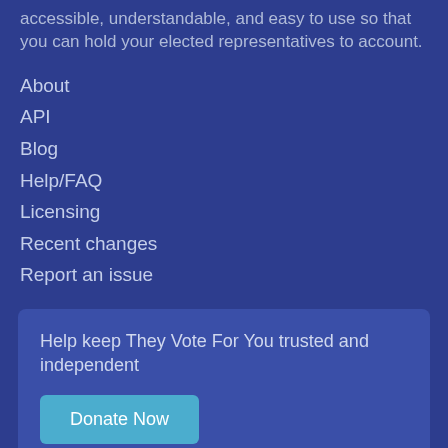accessible, understandable, and easy to use so that you can hold your elected representatives to account.
About
API
Blog
Help/FAQ
Licensing
Recent changes
Report an issue
Help keep They Vote For You trusted and independent
Donate Now